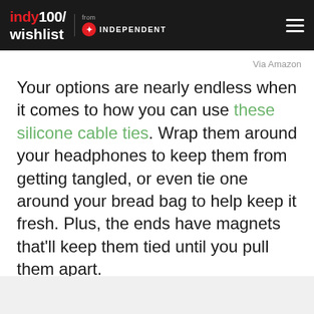indy100/wishlist from INDEPENDENT
Via Amazon
Your options are nearly endless when it comes to how you can use these silicone cable ties. Wrap them around your headphones to keep them from getting tangled, or even tie one around your bread bag to help keep it fresh. Plus, the ends have magnets that'll keep them tied until you pull them apart.
SEE IT ON AMAZON